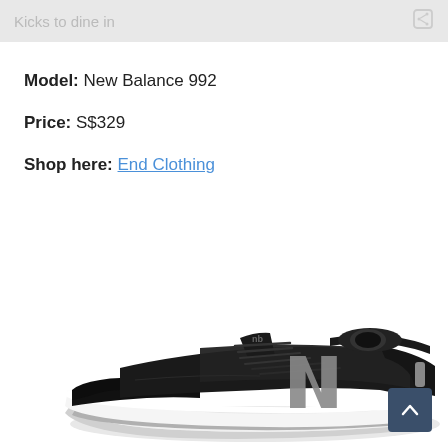Kicks to dine in
Model: New Balance 992
Price: S$329
Shop here: End Clothing
[Figure (photo): Black New Balance 992 sneaker with gray N logo on the side, white sole, photographed from the lateral side on a white background.]